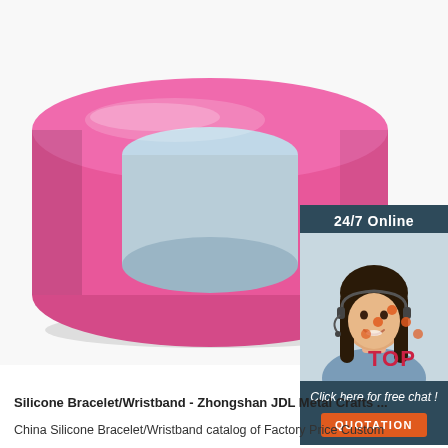[Figure (photo): Pink silicone wristband/bracelet photographed against a white background, showing a wide flat band form in bright pink/magenta color with a circular opening.]
[Figure (infographic): Chat widget overlay in dark teal/navy background. Shows '24/7 Online' heading, photo of a smiling female customer service agent with headset, italic text 'Click here for free chat!', and an orange button labeled 'QUOTATION'.]
[Figure (logo): TOP badge/logo with red 'TOP' text and orange dots forming a triangle/chevron shape above the text.]
Silicone Bracelet/Wristband - Zhongshan JDL Metal Crafts ...
China Silicone Bracelet/Wristband catalog of Factory Price Custom